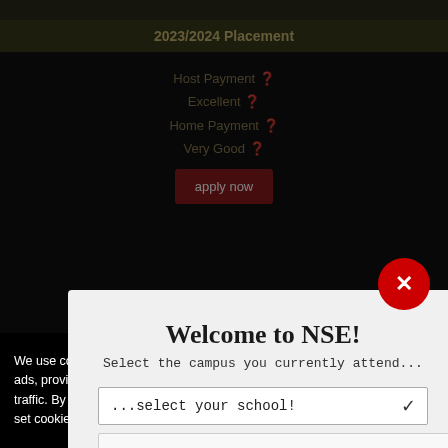2023/2024 Placement
Host Payment ❓
Excellent ❓
Home Payment ❓
Very Good ❓
[Figure (screenshot): Apply now button (red background)]
Welcome to NSE!
Select the campus you currently attend...
...select your school!
This one!
Term Dates
Fall | 08/23-12/16
Spring | 01/09-05/05
We use cookies on this site to personalize content and ads, provide social media features and analyze web traffic. By using this site, you are consenting for us to set cookies.